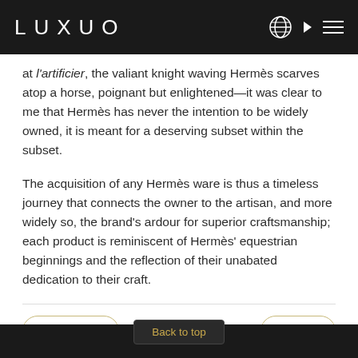LUXUO
at l'artificier, the valiant knight waving Hermès scarves atop a horse, poignant but enlightened—it was clear to me that Hermès has never the intention to be widely owned, it is meant for a deserving subset within the subset.
The acquisition of any Hermès ware is thus a timeless journey that connects the owner to the artisan, and more widely so, the brand's ardour for superior craftsmanship; each product is reminiscent of Hermès' equestrian beginnings and the reflection of their unabated dedication to their craft.
← Previous
Next →
Back to top